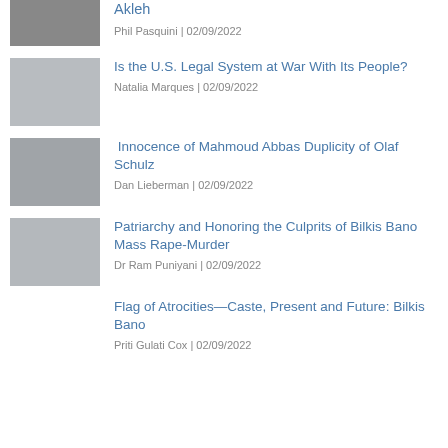[Figure (photo): Partial photo at top, cropped]
Akleh
Phil Pasquini | 02/09/2022
[Figure (photo): Photo of people in a large hall or cafeteria]
Is the U.S. Legal System at War With Its People?
Natalia Marques | 02/09/2022
[Figure (photo): Photo of men at a table, appears to be a formal setting]
Innocence of Mahmoud Abbas Duplicity of Olaf Schulz
Dan Lieberman | 02/09/2022
[Figure (photo): Photo of a group of people sitting in a row]
Patriarchy and Honoring the Culprits of Bilkis Bano Mass Rape-Murder
Dr Ram Puniyani | 02/09/2022
Flag of Atrocities—Caste, Present and Future: Bilkis Bano
Priti Gulati Cox | 02/09/2022